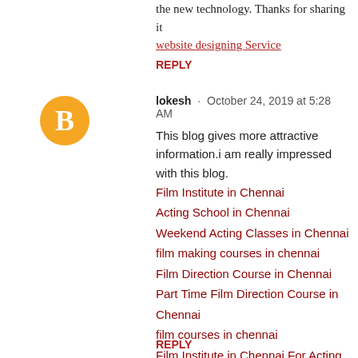the new technology. Thanks for sharing it website designing Service
REPLY
[Figure (illustration): Orange circle avatar with white blogger 'B' logo icon]
lokesh · October 24, 2019 at 5:28 AM
This blog gives more attractive information.i am really impressed with this blog.
Film Institute in Chennai
Acting School in Chennai
Weekend Acting Classes in Chennai
film making courses in chennai
Film Direction Course in Chennai
Part Time Film Direction Course in Chennai
film courses in chennai
Film Institute in Chennai For Acting
best film school in chennai
Best Acting School in Chennai
REPLY